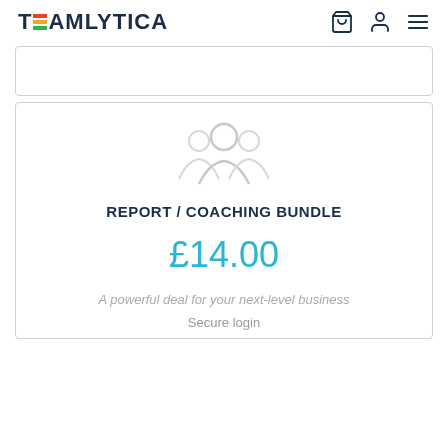TEAMLYTICA
[Figure (screenshot): Empty card/panel with light border]
[Figure (illustration): Faint watermark-style illustration of three people silhouettes]
REPORT / COACHING BUNDLE
£14.00
A powerful deal for your next-level business
Secure login